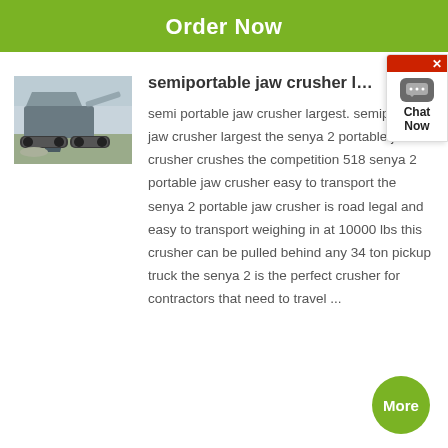Order Now
semiportable jaw crusher largest - Mini
[Figure (photo): A semi-portable jaw crusher machine on a construction/mining site, grey industrial equipment on tracks]
semi portable jaw crusher largest. semipor le jaw crusher largest the senya 2 portable jaw crusher crushes the competition 518 senya 2 portable jaw crusher easy to transport the senya 2 portable jaw crusher is road legal and easy to transport weighing in at 10000 lbs this crusher can be pulled behind any 34 ton pickup truck the senya 2 is the perfect crusher for contractors that need to travel ...
[Figure (other): Chat Now widget - red close button, grey chat bubble icon, text Chat Now]
More